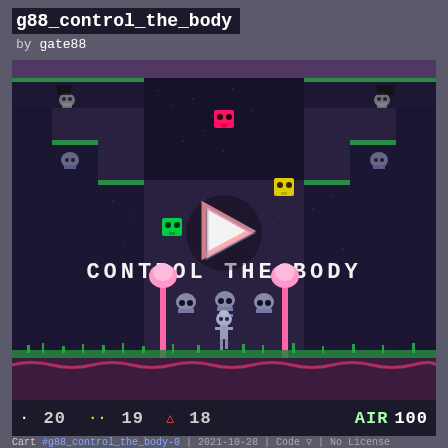g88_control_the_body
by gate88
[Figure (screenshot): PICO-8 game screenshot showing a dark pixel-art platformer level titled 'CONTROL THE BODY'. The scene shows a dark blue-purple cave environment with stepped stone platforms. Three colored enemy/item sprites float in the air: pink (top center), yellow (middle right), green (lower left). A skeleton character stands at the bottom center. Two pink decorative lamp/flower poles flank the center. Green grass borders the bottom. Text 'CONTROL THE BODY' is displayed in white pixel font in the center. A play button triangle overlay appears in the center.]
· 20  ··19  △18  AIR 100
Cart #g88_control_the_body-0 | 2021-10-28 | Code ▽ | No License